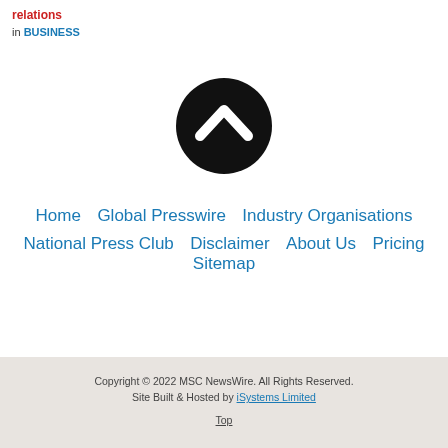relations in BUSINESS
[Figure (illustration): Black circle with white upward chevron/arrow icon in the center]
Home | Global Presswire | Industry Organisations | National Press Club | Disclaimer | About Us | Pricing | Sitemap
Copyright © 2022 MSC NewsWire. All Rights Reserved. Site Built & Hosted by iSystems Limited Top